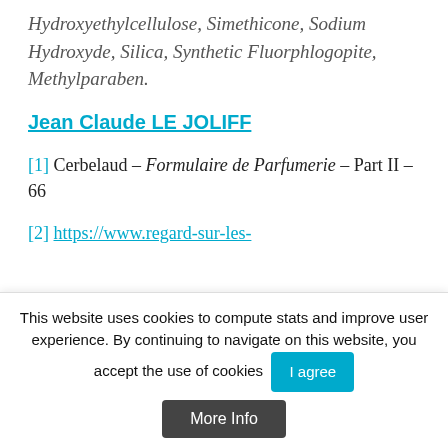Hydroxyethylcellulose, Simethicone, Sodium Hydroxyde, Silica, Synthetic Fluorphlogopite, Methylparaben.
Jean Claude LE JOLIFF
[1] Cerbelaud – Formulaire de Parfumerie – Part II – 66
[2] https://www.regard-sur-les-...
This website uses cookies to compute stats and improve user experience. By continuing to navigate on this website, you accept the use of cookies
I agree
More Info